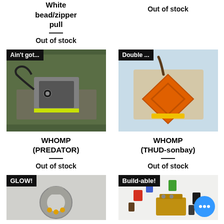White bead/zipper pull
Out of stock
Out of stock
[Figure (photo): Product photo of WHOMP PREDATOR device on ground with badge 'Ain't got...']
[Figure (photo): Product photo of WHOMP THUD-sonbay orange device with badge 'Double ...']
WHOMP (PREDATOR)
Out of stock
WHOMP (THUD-sonbay)
Out of stock
[Figure (photo): Product photo of glow ring device with badge 'GLOW!']
[Figure (photo): Product photo of build-able kit with badge 'Build-able!']